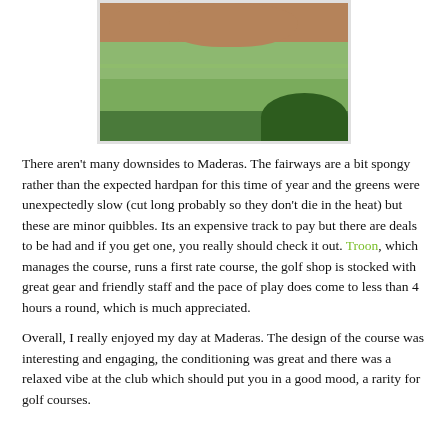[Figure (photo): Photograph of a golf course fairway with a large rock formation in the foreground and green grass stretching into the background with trees on the right.]
There aren't many downsides to Maderas. The fairways are a bit spongy rather than the expected hardpan for this time of year and the greens were unexpectedly slow (cut long probably so they don't die in the heat) but these are minor quibbles. Its an expensive track to pay but there are deals to be had and if you get one, you really should check it out. Troon, which manages the course, runs a first rate course, the golf shop is stocked with great gear and friendly staff and the pace of play does come to less than 4 hours a round, which is much appreciated.
Overall, I really enjoyed my day at Maderas. The design of the course was interesting and engaging, the conditioning was great and there was a relaxed vibe at the club which should put you in a good mood, a rarity for golf courses.